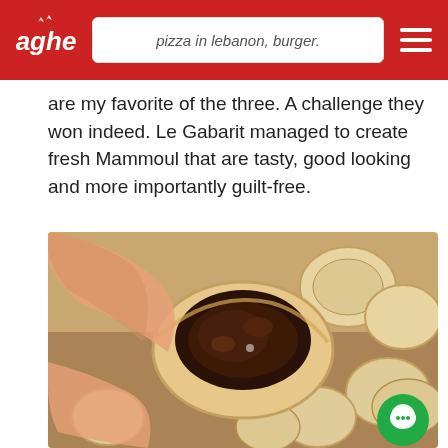pizza in lebanon, burger.
are my favorite of the three. A challenge they won indeed. Le Gabarit managed to create fresh Mammoul that are tasty, good looking and more importantly guilt-free.
[Figure (photo): A hand holding a bitten-open Mammoul pastry revealing a dark chocolate/date filling inside, with multiple whole round Mammoul pastries in the background on a wooden surface.]